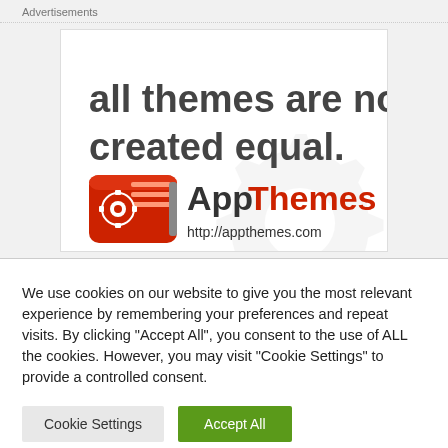Advertisements
[Figure (illustration): AppThemes advertisement banner with text 'all themes are not created equal.' and the AppThemes logo (red card/icon with gear graphic) and URL http://appthemes.com]
We use cookies on our website to give you the most relevant experience by remembering your preferences and repeat visits. By clicking "Accept All", you consent to the use of ALL the cookies. However, you may visit "Cookie Settings" to provide a controlled consent.
Cookie Settings
Accept All